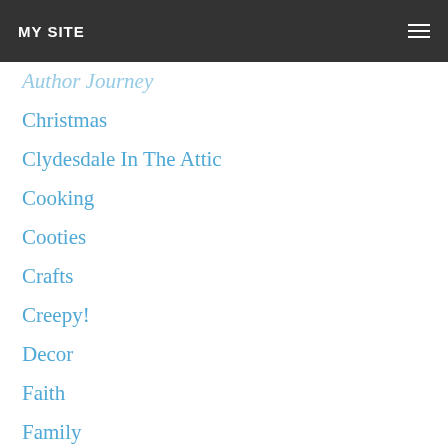MY SITE
Author Journey
Christmas
Clydesdale In The Attic
Cooking
Cooties
Crafts
Creepy!
Decor
Faith
Family
Farm
Fashion
Friendships
Gardening
God Bless America
Gratitude
Guest Posts